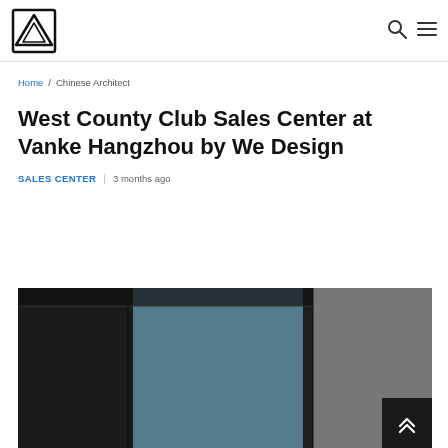Navigation bar with logo, search icon, and menu icon
Home / Chinese Architect
West County Club Sales Center at Vanke Hangzhou by We Design
SALES CENTER | 3 months ago
[Figure (photo): Partial view of an interior architectural space showing dark walls, a glass window panel, and textured concrete surfaces]